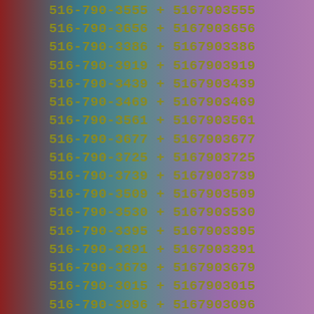516-790-3555 + 5167903555
516-790-3656 + 5167903656
516-790-3386 + 5167903386
516-790-3919 + 5167903919
516-790-3439 + 5167903439
516-790-3469 + 5167903469
516-790-3561 + 5167903561
516-790-3677 + 5167903677
516-790-3725 + 5167903725
516-790-3739 + 5167903739
516-790-3509 + 5167903509
516-790-3530 + 5167903530
516-790-3395 + 5167903395
516-790-3391 + 5167903391
516-790-3679 + 5167903679
516-790-3015 + 5167903015
516-790-3096 + 5167903096
516-790-3020 + 5167903020
516-790-3521 + 5167903521
516-790-3999 + 5167903999
516-790-3652 + 5167903652
516-790-3938 + 5167903938